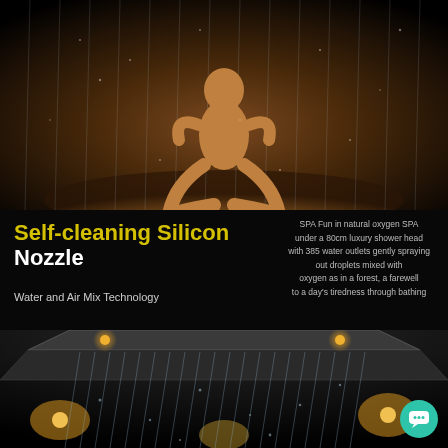[Figure (photo): Woman in bikini sitting cross-legged under rain/shower spray on dark background with warm brown tones]
Self-cleaning Silicon Nozzle
Water and  Air Mix Technology
SPA Fun in natural oxygen SPA under a 80cm  luxury shower head with 385 water outlets gently spraying out droplets mixed with oxygen as in a forest, a farewell to a day's tiredness through bathing
[Figure (photo): Large luxury shower head with LED lights, viewed from below at an angle, with water falling in vertical streams on a dark background]